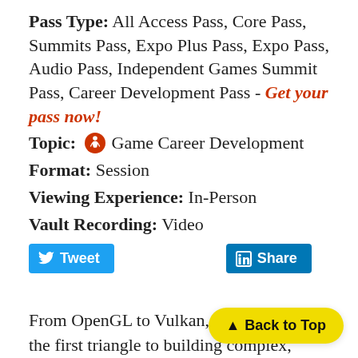Pass Type: All Access Pass, Core Pass, Summits Pass, Expo Plus Pass, Expo Pass, Audio Pass, Independent Games Summit Pass, Career Development Pass - Get your pass now!
Topic: 🏃 Game Career Development
Format: Session
Viewing Experience: In-Person
Vault Recording: Video
Tweet  Share
From OpenGL to Vulkan, from drawing the first triangle to building complex, multi-platform frameworks, from indie to professional, there are stories and takeaways from every stage in the career "pipeline" of a graphics p...